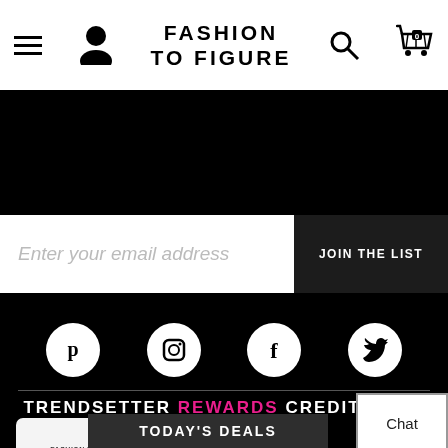FASHION TO FIGURE
[Figure (screenshot): Black banner area below header navigation]
Enter your email address
JOIN THE LIST
[Figure (infographic): Social media icons row: Pinterest, Instagram, Facebook, Twitter]
TRENDSETTER REWARDS CREDIT CARD
[Figure (photo): Fashion To Figure credit card image]
> PAY BILL
> CARD BENEFITS
TODAY'S DEALS
Chat